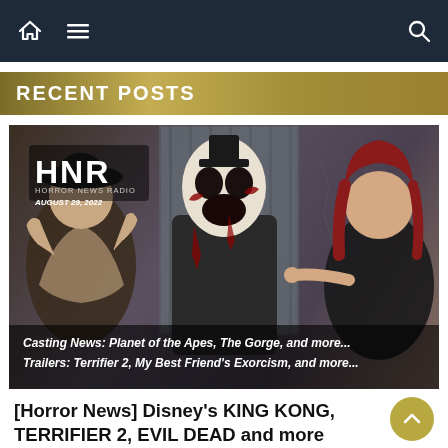Navigation bar with home icon, menu icon, and search icon
RECENT POSTS
[Figure (photo): Horror News Radio podcast thumbnail dated August 29, 2022. Shows two women hosts and a horror clown character (Art the Clown from Terrifier) in the center. Text overlays: 'HNR HORROR NEWS RADIO', 'AUGUST 29, 2022', 'Casting News: Planet of the Apes, The Gorge, and more...', 'Trailers: Terrifier 2, My Best Friend's Exorcism, and more...']
[Horror News] Disney's KING KONG, TERRIFIER 2, EVIL DEAD and more